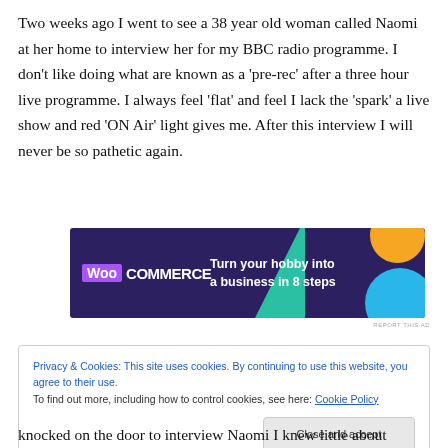Two weeks ago I went to see a 38 year old woman called Naomi at her home to interview her for my BBC radio programme. I don’t like doing what are known as a ‘pre-rec’ after a three hour live programme. I always feel ‘flat’ and feel I lack the ‘spark’ a live show and red ‘ON Air’ light gives me. After this interview I will never be so pathetic again.
[Figure (other): WooCommerce advertisement banner: dark purple background with teal triangle, orange circle, and blue circle decorative elements. Text reads 'WOO COMMERCE - Turn your hobby into a business in 8 steps']
REPORT THIS AD
Privacy & Cookies: This site uses cookies. By continuing to use this website, you agree to their use.
To find out more, including how to control cookies, see here: Cookie Policy
Close and accept
knocked on the door to interview Naomi I knew little about